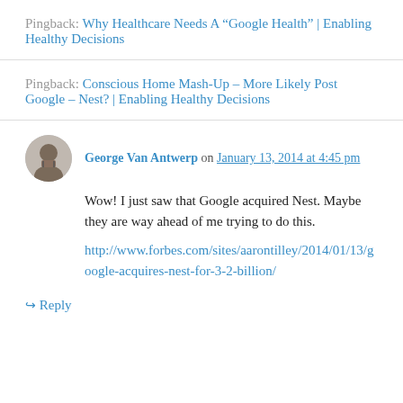Pingback: Why Healthcare Needs A “Google Health” | Enabling Healthy Decisions
Pingback: Conscious Home Mash-Up – More Likely Post Google – Nest? | Enabling Healthy Decisions
George Van Antwerp on January 13, 2014 at 4:45 pm
Wow! I just saw that Google acquired Nest. Maybe they are way ahead of me trying to do this. http://www.forbes.com/sites/aarontilley/2014/01/13/google-acquires-nest-for-3-2-billion/
↪ Reply